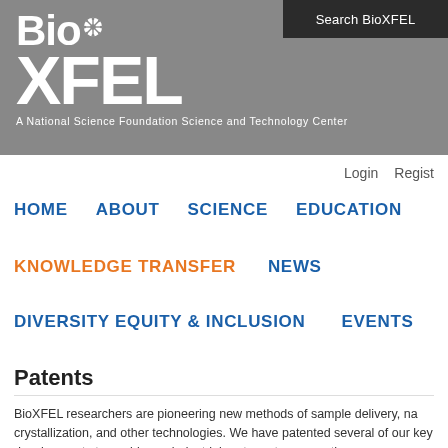[Figure (logo): BioXFEL logo with starburst between Bio and XFEL text, on gray background. Tagline: A National Science Foundation Science and Technology Center]
Search BioXFEL
Login   Regist
HOME
ABOUT
SCIENCE
EDUCATION
KNOWLEDGE TRANSFER
NEWS
DIVERSITY EQUITY & INCLUSION
EVENTS
Patents
BioXFEL researchers are pioneering new methods of sample delivery, na crystallization, and other technologies. We have patented several of our key developments to enable our industrial partners to access these